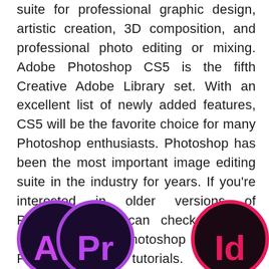suite for professional graphic design, artistic creation, 3D composition, and professional photo editing or mixing. Adobe Photoshop CS5 is the fifth Creative Adobe Library set. With an excellent list of newly added features, CS5 will be the favorite choice for many Photoshop enthusiasts. Photoshop has been the most important image editing suite in the industry for years. If you're interested in older versions of Photoshop, you can check out our Photoshop 7.0, Photoshop CS5, and Photoshop CS6 tutorials. The new version of CS5 is enriched with unlimited features like Refine Edge, Fill-Aware Fill, Bristle Tips, Mixer Brush, Puppet Wrap, and more.
[Figure (logo): Three Adobe application icons partially visible at the bottom: After Effects (Ae) with purple ring on dark background, Premiere Pro (Pr) with purple ring on dark background, InDesign (Id) with pink/red ring on dark background]